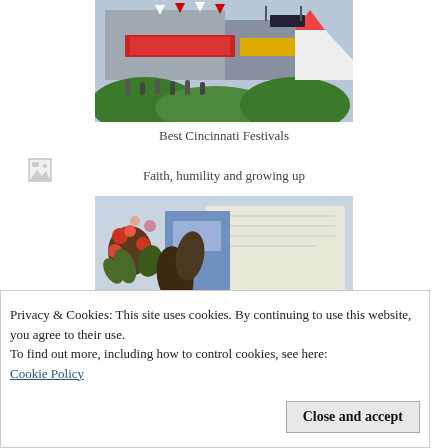[Figure (photo): Photo of a Cincinnati festival with colorful signs, tents, flags, and greenery in the foreground]
Best Cincinnati Festivals
[Figure (photo): Small broken/unloaded image icon in upper left]
Faith, humility and growing up
[Figure (photo): Close-up photo of flowers (red/orange blooms) alongside an open book or journal with blue and illustrated pages]
Privacy & Cookies: This site uses cookies. By continuing to use this website, you agree to their use.
To find out more, including how to control cookies, see here: Cookie Policy
[Figure (photo): Partial view of a bottom image partially obscured by cookie banner]